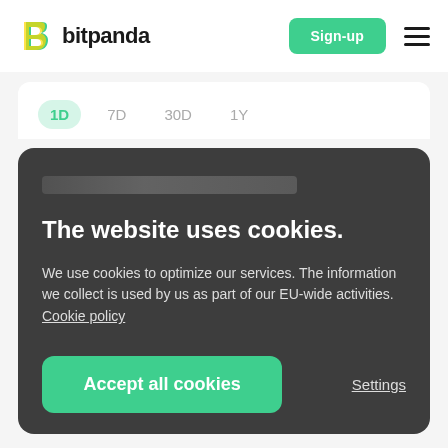[Figure (logo): Bitpanda logo: stylized B icon in teal/yellow and wordmark 'bitpanda' in dark bold text]
Sign-up
[Figure (other): Hamburger menu icon (three horizontal lines)]
1D  7D  30D  1Y
The website uses cookies.
We use cookies to optimize our services. The information we collect is used by us as part of our EU-wide activities. Cookie policy
Accept all cookies
Settings